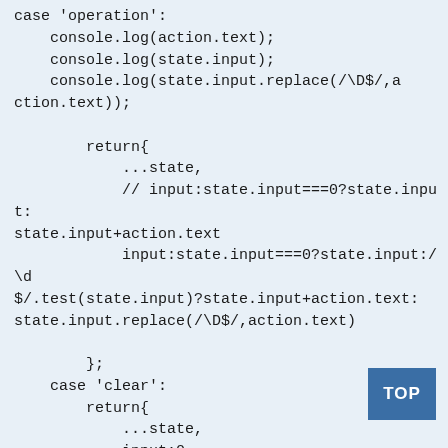case 'operation':
    console.log(action.text);
    console.log(state.input);
    console.log(state.input.replace(/\D$/,action.text));

        return{
            ...state,
            // input:state.input===0?state.input:state.input+action.text
            input:state.input===0?state.input:/\d$/.test(state.input)?state.input+action.text:state.input.replace(/\D$/,action.text)

        };
    case 'clear':
        return{
            ...state,
            input:0,
            result:''
        };
    case 'equal':